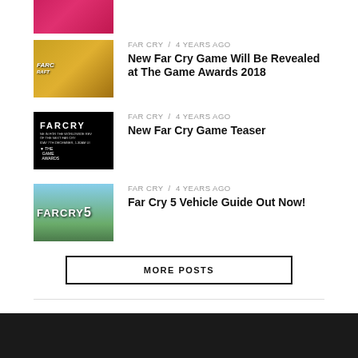[Figure (screenshot): Far Cry game thumbnail - top partial]
FAR CRY / 4 years ago
New Far Cry Game Will Be Revealed at The Game Awards 2018
FAR CRY / 4 years ago
New Far Cry Game Teaser
FAR CRY / 4 years ago
Far Cry 5 Vehicle Guide Out Now!
MORE POSTS